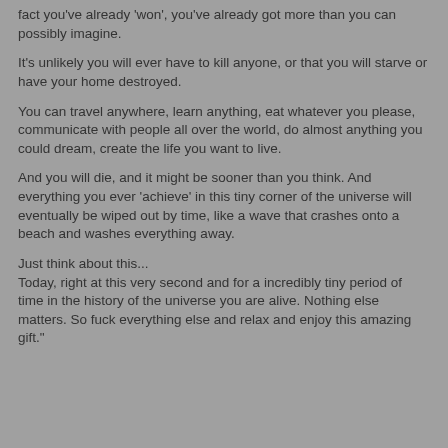fact you've already 'won', you've already got more than you can possibly imagine.
It's unlikely you will ever have to kill anyone, or that you will starve or have your home destroyed.
You can travel anywhere, learn anything, eat whatever you please, communicate with people all over the world, do almost anything you could dream, create the life you want to live.
And you will die, and it might be sooner than you think. And everything you ever 'achieve' in this tiny corner of the universe will eventually be wiped out by time, like a wave that crashes onto a beach and washes everything away.
Just think about this...
Today, right at this very second and for a incredibly tiny period of time in the history of the universe you are alive. Nothing else matters. So fuck everything else and relax and enjoy this amazing gift."